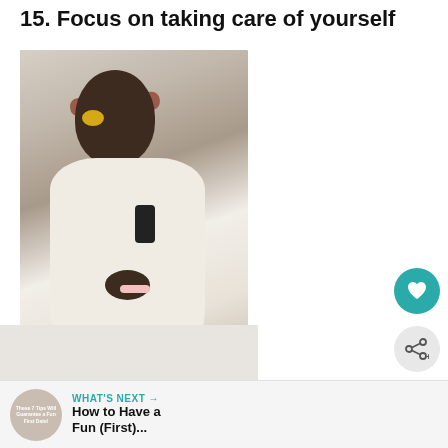15. Focus on taking care of yourself
[Figure (photo): Woman in white robe wearing a pink headband and yellow under-eye patches, laughing while talking on phone and doing nails]
[Figure (photo): Partial view of a second photo at the bottom left]
WHAT'S NEXT → How to Have a Fun (First)...
These 7 Tips Will Guarantee a Fun First Date!